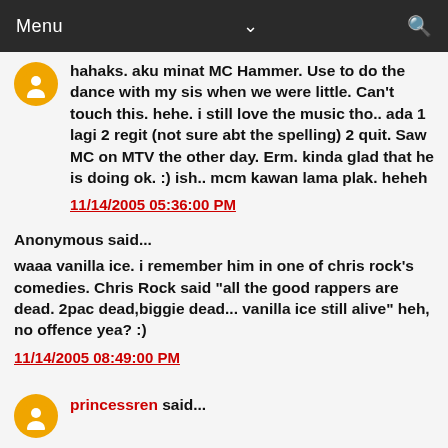Menu
hahaks. aku minat MC Hammer. Use to do the dance with my sis when we were little. Can't touch this. hehe. i still love the music tho.. ada 1 lagi 2 regit (not sure abt the spelling) 2 quit. Saw MC on MTV the other day. Erm. kinda glad that he is doing ok. :) ish.. mcm kawan lama plak. heheh
11/14/2005 05:36:00 PM
Anonymous said...
waaa vanilla ice. i remember him in one of chris rock's comedies. Chris Rock said "all the good rappers are dead. 2pac dead,biggie dead... vanilla ice still alive" heh, no offence yea? :)
11/14/2005 08:49:00 PM
princessren said...